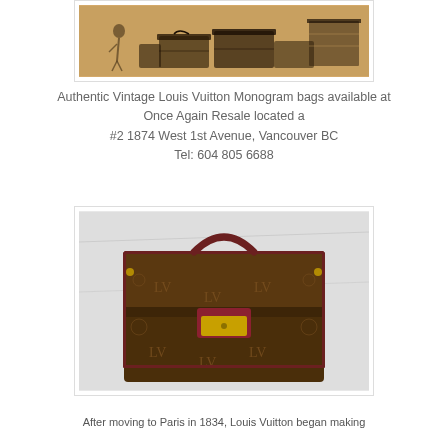[Figure (photo): Vintage illustration or sketch of Louis Vuitton trunks and luggage on a tan/sepia background]
Authentic Vintage Louis Vuitton Monogram bags available at Once Again Resale located a
#2 1874 West 1st Avenue, Vancouver BC
Tel: 604 805 6688
[Figure (photo): Photo of a Louis Vuitton Monogram briefcase/handbag with brown monogram canvas, dark red leather handle, and gold clasp hardware, displayed against white fabric background]
After moving to Paris in 1834, Louis Vuitton began making